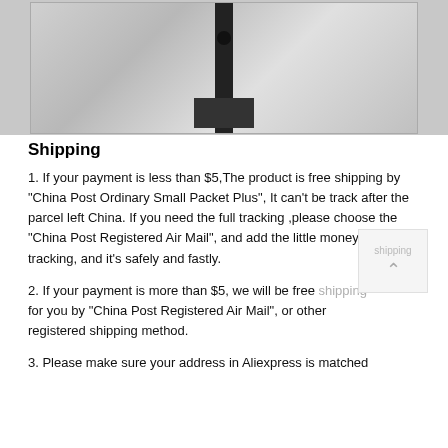[Figure (photo): Close-up photo of a metal hinge or bracket component with black plastic fittings against a light background]
Shipping
1. If your payment is less than $5,The product is free shipping by "China Post Ordinary Small Packet Plus", It can't be track after the parcel left China. If you need the full tracking ,please choose the "China Post Registered Air Mail", and add the little money for the tracking, and it's safely and fastly.
2. If your payment is more than $5, we will be free shipping for you by "China Post Registered Air Mail", or other registered shipping method.
3. Please make sure your address in Aliexpress is matched